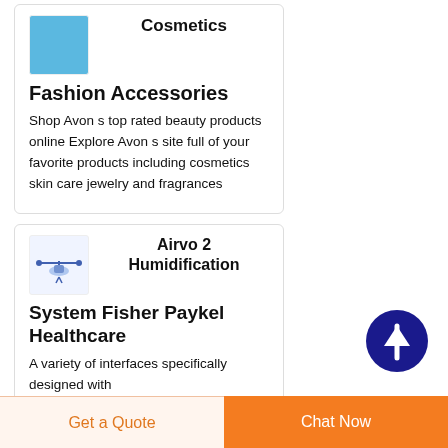Cosmetics Fashion Accessories
Shop Avon s top rated beauty products online Explore Avon s site full of your favorite products including cosmetics skin care jewelry and fragrances
Airvo 2 Humidification System Fisher Paykel Healthcare
A variety of interfaces specifically designed with
[Figure (other): Scroll-to-top circular dark blue button with upward arrow icon]
Get a Quote
Chat Now